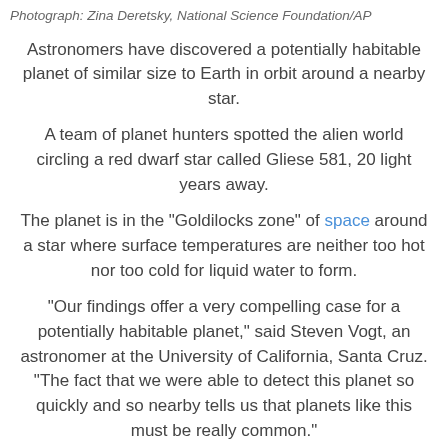Photograph: Zina Deretsky, National Science Foundation/AP
Astronomers have discovered a potentially habitable planet of similar size to Earth in orbit around a nearby star.
A team of planet hunters spotted the alien world circling a red dwarf star called Gliese 581, 20 light years away.
The planet is in the "Goldilocks zone" of space around a star where surface temperatures are neither too hot nor too cold for liquid water to form.
"Our findings offer a very compelling case for a potentially habitable planet," said Steven Vogt, an astronomer at the University of California, Santa Cruz. "The fact that we were able to detect this planet so quickly and so nearby tells us that planets like this must be really common."
If confirmed, the planet would be the most Earth-like that has ever been discovered in another solar system and the first strong contender for a habitable one.
More than 400 exoplanets have been discovered by astronomers, but most were giant planets like Jupiter that could